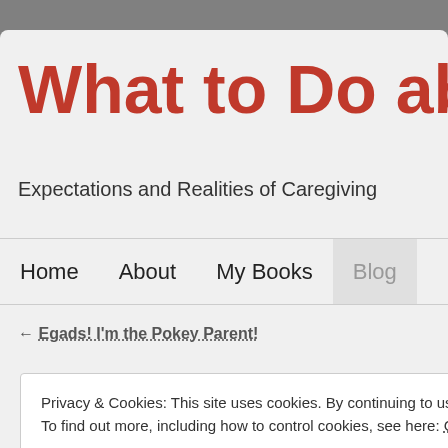What to Do abou
Expectations and Realities of Caregiving
Home   About   My Books   Blog
← Egads! I'm the Pokey Parent!
Privacy & Cookies: This site uses cookies. By continuing to use this website, you agree to their use.
To find out more, including how to control cookies, see here: Cookie Policy
Close and accept